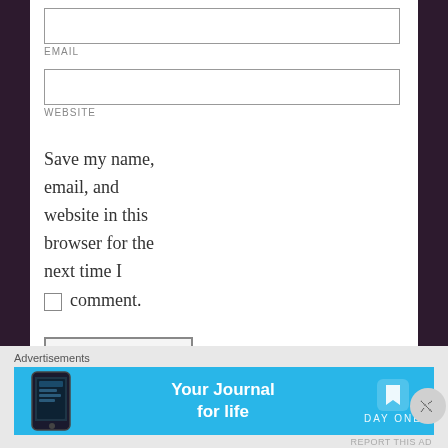EMAIL
WEBSITE
Save my name, email, and website in this browser for the next time I comment.
Post Comment
Notify me of new comments via email
Advertisements
[Figure (infographic): Day One app advertisement banner with text 'Your Journal for life' on a blue background with a phone image and the Day One logo.]